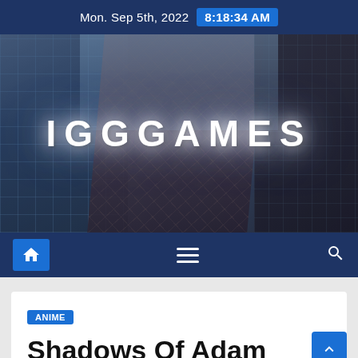Mon. Sep 5th, 2022  8:18:34 AM
[Figure (photo): IGGGAMES website hero banner showing city skyscrapers viewed from below with the text IGGGAMES in large glowing white letters]
Home menu search navigation bar
ANIME
Shadows Of Adam